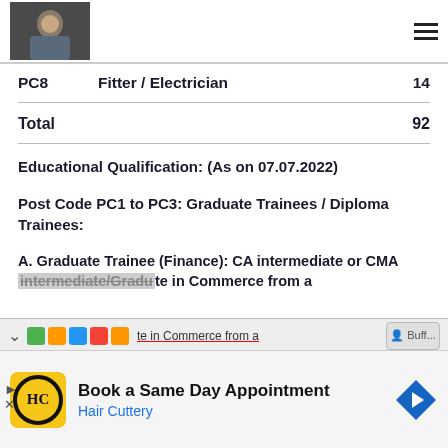| Post Code | Trade | Vacancies |
| --- | --- | --- |
| PC8 | Fitter / Electrician | 14 |
| Total |  | 92 |
Educational Qualification: (As on 07.07.2022)
Post Code PC1 to PC3: Graduate Trainees / Diploma Trainees:
A. Graduate Trainee (Finance): CA intermediate or CMA intermediate/Graduate in Commerce from a